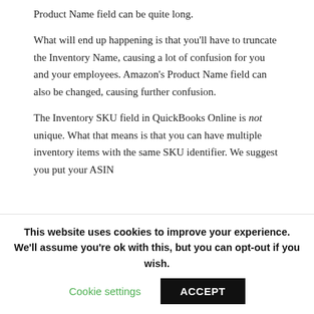Product Name field can be quite long.
What will end up happening is that you'll have to truncate the Inventory Name, causing a lot of confusion for you and your employees. Amazon's Product Name field can also be changed, causing further confusion.
The Inventory SKU field in QuickBooks Online is not unique. What that means is that you can have multiple inventory items with the same SKU identifier. We suggest you put your ASIN
This website uses cookies to improve your experience. We'll assume you're ok with this, but you can opt-out if you wish.
Cookie settings
ACCEPT